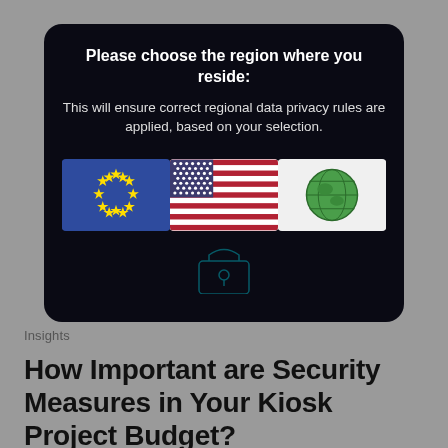[Figure (screenshot): Dark modal dialog box with 'Please choose the region where you reside:' title, explanatory subtitle text, and three flag buttons for EU, USA, and Global (Earth emoji), with a digital padlock/data visual in the background]
Insights
How Important are Security Measures in Your Kiosk Project Budget?
Read More